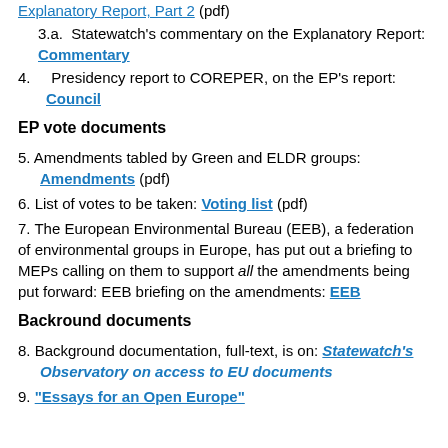Explanatory Report, Part 2 (pdf)
3.a.  Statewatch's commentary on the Explanatory Report: Commentary
4.    Presidency report to COREPER, on the EP's report: Council
EP vote documents
5. Amendments tabled by Green and ELDR groups: Amendments (pdf)
6. List of votes to be taken: Voting list (pdf)
7. The European Environmental Bureau (EEB), a federation of environmental groups in Europe, has put out a briefing to MEPs calling on them to support all the amendments being put forward: EEB briefing on the amendments: EEB
Backround documents
8. Background documentation, full-text, is on: Statewatch's Observatory on access to EU documents
9. "Essays for an Open Europe"